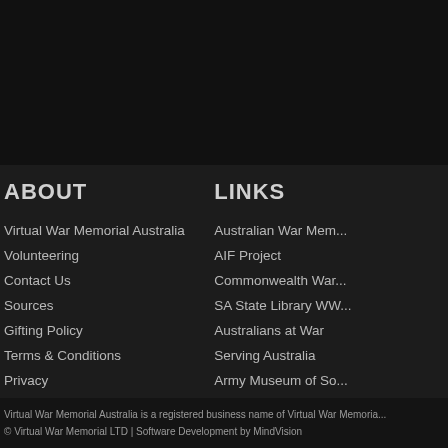[Figure (photo): Dark background image area at top of page]
ABOUT
LINKS
Virtual War Memorial Australia
Volunteering
Contact Us
Sources
Gifting Policy
Terms & Conditions
Privacy
Australian War Mem...
AIF Project
Commonwealth War...
SA State Library WW...
Australians at War
Serving Australia
Army Museum of So...
Veterans SA
Virtual War Memorial Australia is a registered business name of Virtual War Memoria...
© Virtual War Memorial LTD | Software Development by MindVision